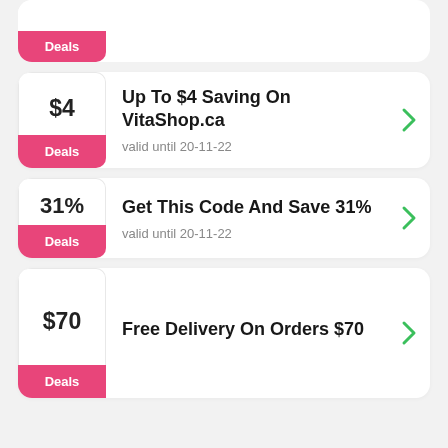[Figure (other): Partial deal card showing only pink Deals button at top]
Up To $4 Saving On VitaShop.ca
valid until 20-11-22
Get This Code And Save 31%
valid until 20-11-22
Free Delivery On Orders $70